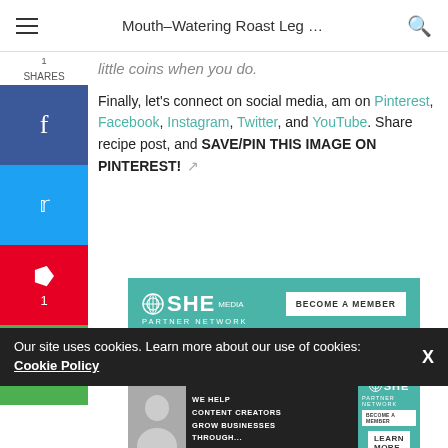Mouth–Watering Roast Leg …
little coins when you do.
Finally, let's connect on social media, am on Pinterest, Facebook, Instagram, Twitter, and YouTube. Share recipe post, and SAVE/PIN THIS IMAGE ON PINTEREST! ↗
[Figure (infographic): SHE Media Partner Network advertisement banner with 'Become a Member' button and 'Earning site & social revenue' text]
[Figure (infographic): SHE Media Partner Network bottom advertisement banner with 'We Help Content Creators Grow Businesses Through...' text and Learn More button]
Our site uses cookies. Learn more about our use of cookies: Cookie Policy
1 SHARES